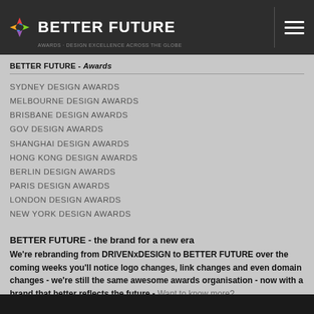BETTER FUTURE
BETTER FUTURE - Awards
SYDNEY DESIGN AWARDS
MELBOURNE DESIGN AWARDS
BRISBANE DESIGN AWARDS
GOV DESIGN AWARDS
SHANGHAI DESIGN AWARDS
HONG KONG DESIGN AWARDS
BERLIN DESIGN AWARDS
PARIS DESIGN AWARDS
LONDON DESIGN AWARDS
NEW YORK DESIGN AWARDS
BETTER FUTURE - the brand for a new era
We're rebranding from DRIVENxDESIGN to BETTER FUTURE over the coming weeks you'll notice logo changes, link changes and even domain changes - we're still the same awesome awards organisation - now with a brand that better reflects the future - Want to know more?